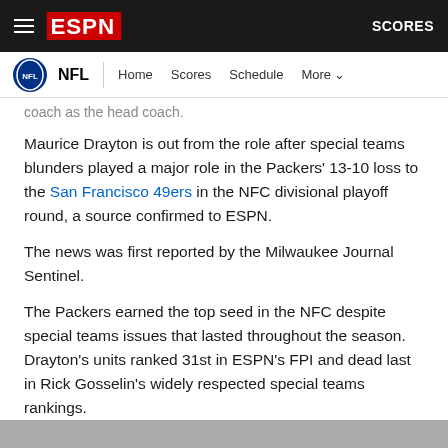ESPN - NFL | Home Scores Schedule More | SCORES
coach as the head coach.
Maurice Drayton is out from the role after special teams blunders played a major role in the Packers' 13-10 loss to the San Francisco 49ers in the NFC divisional playoff round, a source confirmed to ESPN.
The news was first reported by the Milwaukee Journal Sentinel.
The Packers earned the top seed in the NFC despite special teams issues that lasted throughout the season. Drayton's units ranked 31st in ESPN's FPI and dead last in Rick Gosselin's widely respected special teams rankings.